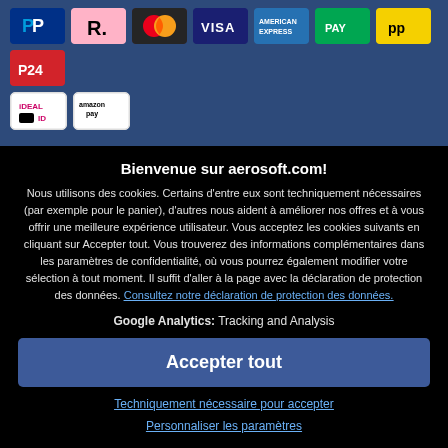[Figure (other): Payment method icons row: PayPal, Klarna (R.), Mastercard, Visa, American Express, green payment icon, pp (yellow), P24 (red), iDEAL, Amazon Pay]
Bienvenue sur aerosoft.com!
Nous utilisons des cookies. Certains d'entre eux sont techniquement nécessaires (par exemple pour le panier), d'autres nous aident à améliorer nos offres et à vous offrir une meilleure expérience utilisateur. Vous acceptez les cookies suivants en cliquant sur Accepter tout. Vous trouverez des informations complémentaires dans les paramètres de confidentialité, où vous pourrez également modifier votre sélection à tout moment. Il suffit d'aller à la page avec la déclaration de protection des données. Consultez notre déclaration de protection des données.
Google Analytics: Tracking and Analysis
Accepter tout
Techniquement nécessaire pour accepter
Personnaliser les paramètres